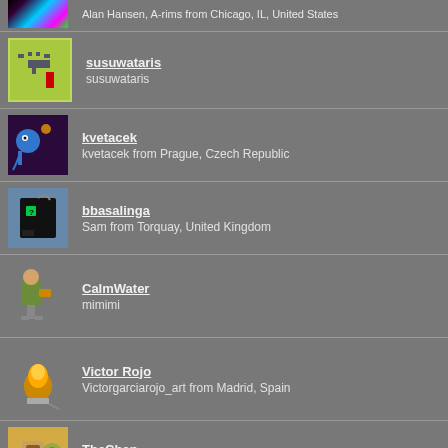Alan Hansen, A-rims from Chicago, IL, United States
susuwataris — susuwataris
kvetacek — kvetacek from Prague, Czech Republic
bbasalinga — Sam from Torquay, United Kingdom
CalmWater — mimimi
Victor Rojo — Victorgarciarojo_art from Madrid, Spain
TheChan — Lan Chan from West Valley, UT, United States